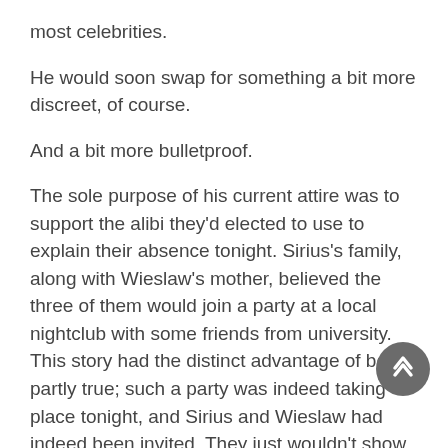most celebrities.
He would soon swap for something a bit more discreet, of course.
And a bit more bulletproof.
The sole purpose of his current attire was to support the alibi they'd elected to use to explain their absence tonight. Sirius's family, along with Wieslaw's mother, believed the three of them would join a party at a local nightclub with some friends from university. This story had the distinct advantage of being partly true; such a party was indeed taking place tonight, and Sirius and Wieslaw had indeed been invited. They just wouldn't show up to it.
This story also had the benefit of giving Nova so much-needed perspective. When the alternative was